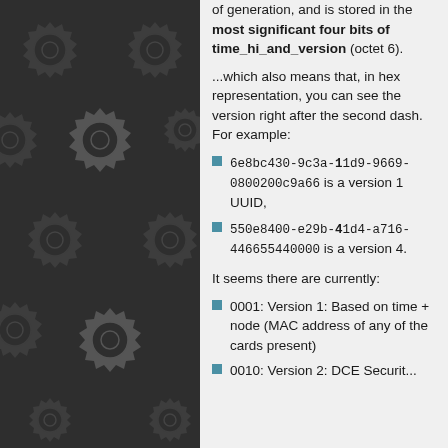[Figure (illustration): Dark background with repeating gear/cog pattern in dark gray tones filling the left panel]
of generation, and is stored in the most significant four bits of time_hi_and_version (octet 6).
...which also means that, in hex representation, you can see the version right after the second dash. For example:
6e8bc430-9c3a-11d9-9669-0800200c9a66 is a version 1 UUID,
550e8400-e29b-41d4-a716-446655440000 is a version 4.
It seems there are currently:
0001: Version 1: Based on time + node (MAC address of any of the cards present)
0010: Version 2: DCE Security...